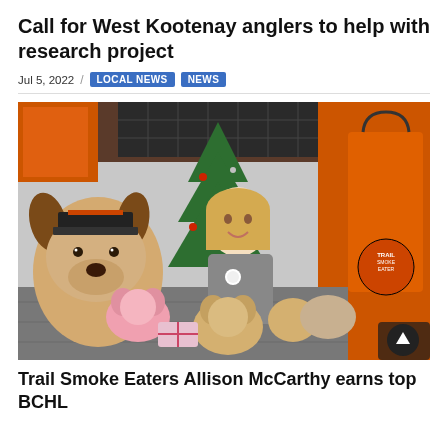Call for West Kootenay anglers to help with research project
Jul 5, 2022 / LOCAL NEWS NEWS
[Figure (photo): A smiling blonde woman kneeling among large stuffed animal toys (a big dog plush with a Trail Smoke Eaters hat, several small bears and plush toys) in front of a decorated Christmas tree, with an orange Trail Smoke Eaters branded shopping bag visible on the right. The setting appears to be a merchandise store.]
Trail Smoke Eaters Allison McCarthy earns top BCHL